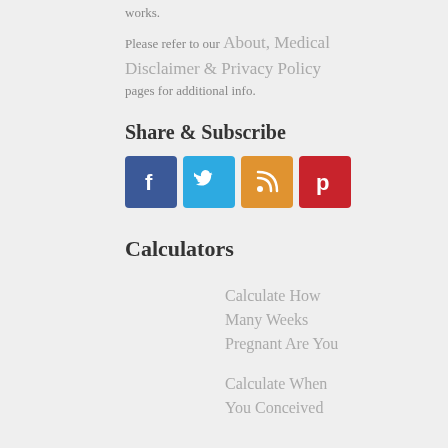works.
Please refer to our About, Medical Disclaimer & Privacy Policy pages for additional info.
Share & Subscribe
[Figure (illustration): Four social media icon buttons: Facebook (blue), Twitter (light blue), RSS (orange), Pinterest (red)]
Calculators
Calculate How Many Weeks Pregnant Are You
Calculate When You Conceived